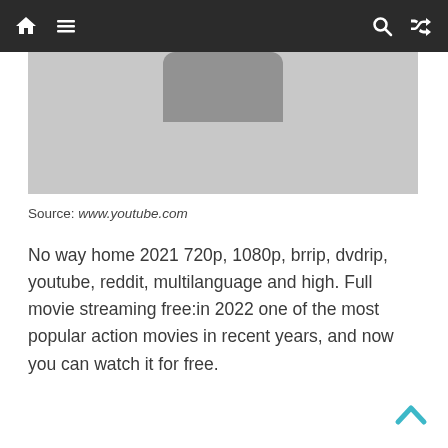Navigation bar with home, menu, search, and shuffle icons
[Figure (screenshot): Partial screenshot of a video thumbnail showing a dark device shape on a light gray background, cropped from a webpage image.]
Source: www.youtube.com
No way home 2021 720p, 1080p, brrip, dvdrip, youtube, reddit, multilanguage and high. Full movie streaming free:in 2022 one of the most popular action movies in recent years, and now you can watch it for free.